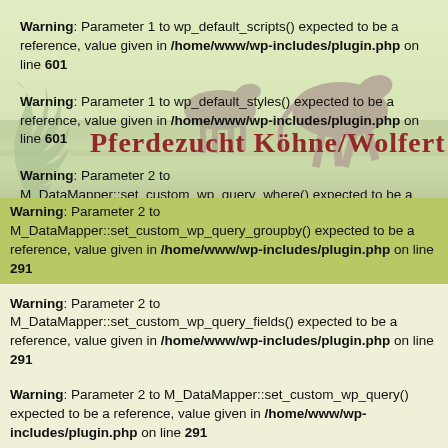[Figure (photo): Background header image showing horses running on green grass, with overlaid text 'Pferdezucht Köhne/Wolfert' in dark red serif font and a decorative green plant graphic on the left side.]
Warning: Parameter 1 to wp_default_scripts() expected to be a reference, value given in /home/www/wp-includes/plugin.php on line 601
Warning: Parameter 1 to wp_default_styles() expected to be a reference, value given in /home/www/wp-includes/plugin.php on line 601
Warning: Parameter 2 to M_DataMapper::set_custom_wp_query_where() expected to be a reference, value given in /home/www/wp-includes/plugin.php on line 291
Warning: Parameter 2 to M_DataMapper::set_custom_wp_query_groupby() expected to be a reference, value given in /home/www/wp-includes/plugin.php on line 291
Warning: Parameter 2 to M_DataMapper::set_custom_wp_query_fields() expected to be a reference, value given in /home/www/wp-includes/plugin.php on line 291
Warning: Parameter 2 to M_DataMapper::set_custom_wp_query() expected to be a reference, value given in /home/www/wp-includes/plugin.php on line 291